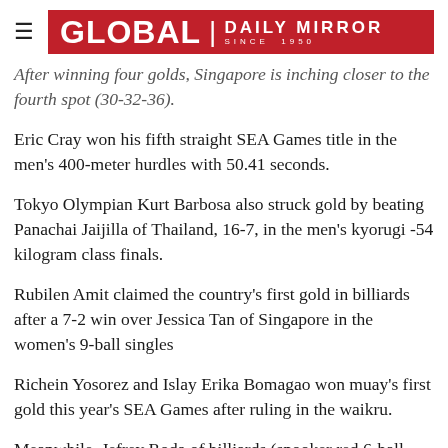GLOBAL | DAILY MIRROR SINCE 1950
After winning four golds, Singapore is inching closer to the fourth spot (30-32-36).
Eric Cray won his fifth straight SEA Games title in the men's 400-meter hurdles with 50.41 seconds.
Tokyo Olympian Kurt Barbosa also struck gold by beating Panachai Jaijilla of Thailand, 16-7, in the men's kyorugi -54 kilogram class finals.
Rubilen Amit claimed the country's first gold in billiards after a 7-2 win over Jessica Tan of Singapore in the women's 9-ball singles
Richein Yosorez and Islay Erika Bomagao won muay's first gold this year's SEA Games after ruling in the waikru.
Meanwhile, Jefrey Roda of billiards (snooker red 6-ball